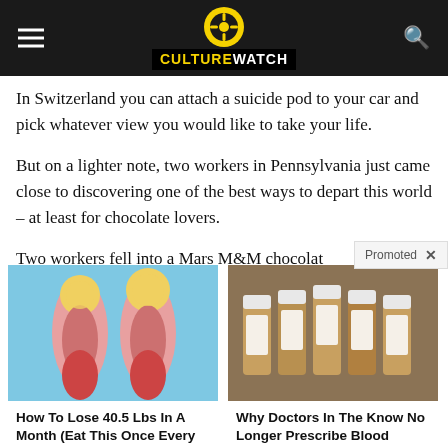CultureWatch
In Switzerland you can attach a suicide pod to your car and pick whatever view you would like to take your life.
But on a lighter note, two workers in Pennsylvania just came close to discovering one of the best ways to depart this world – at least for chocolate lovers.
Two workers fell into a Mars M&M chocolat…
[Figure (photo): Medical anatomy illustration showing leg/joint cross-section with yellow fat deposits on blue background]
How To Lose 40.5 Lbs In A Month (Eat This Once Every Day)
🔥 41,167
[Figure (photo): Photo of multiple brown prescription medicine bottles lined up]
Why Doctors In The Know No Longer Prescribe Blood Pressure Meds
🔥 112,069